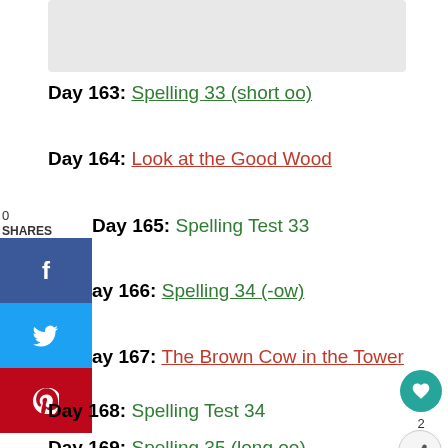Day 163: Spelling 33 (short oo)
Day 164: Look at the Good Wood
Day 165: Spelling Test 33
Day 166: Spelling 34 (-ow)
Day 167: The Brown Cow in the Tower
Day 168: Spelling Test 34
Day 169: Spelling 35 (long oo)